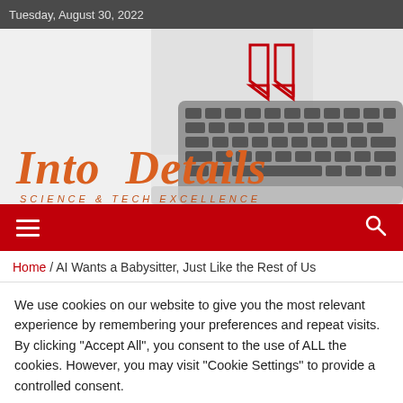Tuesday, August 30, 2022
[Figure (logo): Into Details website header with logo, shield chevron icons, and laptop/keyboard background image. Title reads 'Into Details' in bold italic orange, subtitle 'SCIENCE & TECH EXCELLENCE' in spaced orange italic.]
Home / AI Wants a Babysitter, Just Like the Rest of Us
We use cookies on our website to give you the most relevant experience by remembering your preferences and repeat visits. By clicking "Accept All", you consent to the use of ALL the cookies. However, you may visit "Cookie Settings" to provide a controlled consent.